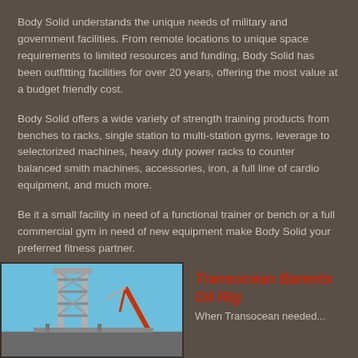Body Solid understands the unique needs of military and government facilities. From remote locations to unique space requirements to limited resources and funding, Body Solid has been outfitting facilities for over 20 years, offering the most value at a budget friendly cost.
Body Solid offers a wide variety of strength training products from benches to racks, single station to multi-station gyms, leverage to selectorized machines, heavy duty power racks to counter balanced smith machines, accessories, iron, a full line of cardio equipment, and much more.
Be it a small facility in need of a functional trainer or bench or a full commercial gym in need of new equipment make Body Solid your preferred fitness partner.
[Figure (photo): Photo of an oil rig structure against a blue sky with a rocket or crane visible in the foreground.]
Transocean Barents Oil Rig
When Transocean needed...